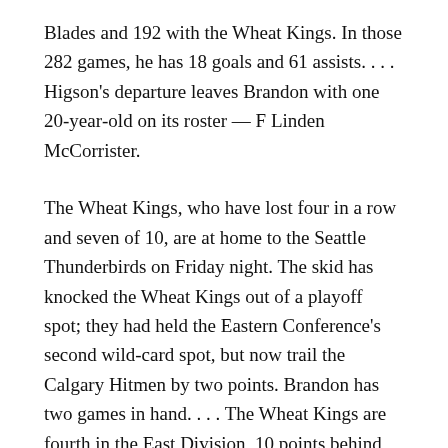Blades and 192 with the Wheat Kings. In those 282 games, he has 18 goals and 61 assists. . . . Higson's departure leaves Brandon with one 20-year-old on its roster — F Linden McCorrister.
The Wheat Kings, who have lost four in a row and seven of 10, are at home to the Seattle Thunderbirds on Friday night. The skid has knocked the Wheat Kings out of a playoff spot; they had held the Eastern Conference's second wild-card spot, but now trail the Calgary Hitmen by two points. Brandon has two games in hand. . . . The Wheat Kings are fourth in the East Division, 10 points behind the third-place Moose Jaw Warriors.